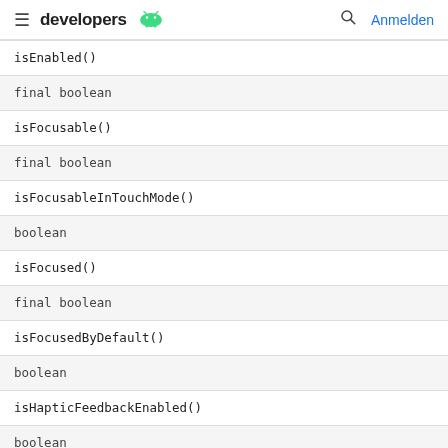developers [android] Anmelden
| isEnabled() |
| final boolean |
| isFocusable() |
| final boolean |
| isFocusableInTouchMode() |
| boolean |
| isFocused() |
| final boolean |
| isFocusedByDefault() |
| boolean |
| isHapticFeedbackEnabled() |
| boolean |
| isHardwareAccelerated() |